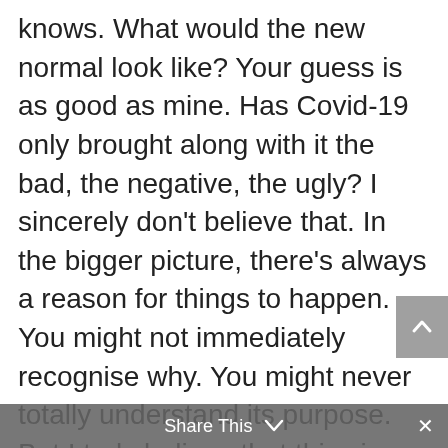knows. What would the new normal look like? Your guess is as good as mine. Has Covid-19 only brought along with it the bad, the negative, the ugly? I sincerely don't believe that. In the bigger picture, there's always a reason for things to happen. You might not immediately recognise why. You might never totally understand its purpose. But I truly believe that this virus has also brought some good. People are living more aware of their surroundings. A lot of relationships have become stronger. Old friends have decided to catch up again. Family feuds have been buried, as we all returned to ourselves, to the here and now and to the things that really matter. Priorities have changed for the better, I believe. This was (or still is) a reset button. I, for one,
Share This ∨